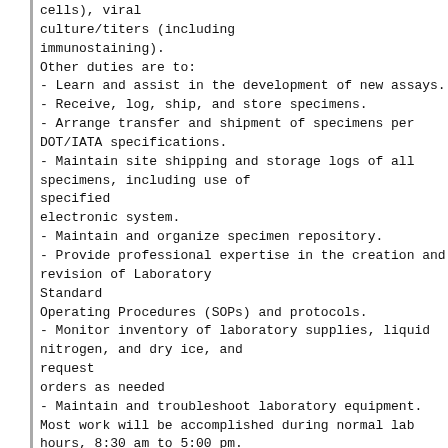cells), viral culture/titers (including immunostaining).
Other duties are to:
- Learn and assist in the development of new assays.
- Receive, log, ship, and store specimens.
- Arrange transfer and shipment of specimens per DOT/IATA specifications.
- Maintain site shipping and storage logs of all specimens, including use of specified electronic system.
- Maintain and organize specimen repository.
- Provide professional expertise in the creation and revision of Laboratory Standard Operating Procedures (SOPs) and protocols.
- Monitor inventory of laboratory supplies, liquid nitrogen, and dry ice, and request orders as needed
- Maintain and troubleshoot laboratory equipment.
Most work will be accomplished during normal lab hours, 8:30 am to 5:00 pm.
The position requires the ability to flex schedule at the supervisor's request to work some evenings or weekends as required by study needs.

Contact Person: Kyra Grantz